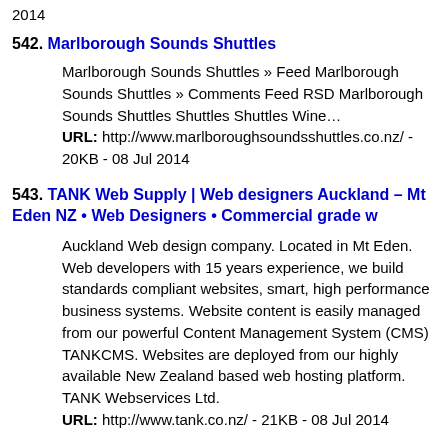2014
542. Marlborough Sounds Shuttles
Marlborough Sounds Shuttles » Feed Marlborough Sounds Shuttles » Comments Feed RSD Marlborough Sounds Shuttles Shuttles Shuttles Wine… URL: http://www.marlboroughsoundsshuttles.co.nz/ - 20KB - 08 Jul 2014
543. TANK Web Supply | Web designers Auckland – Mt Eden NZ • Web Designers • Commercial grade w
Auckland Web design company. Located in Mt Eden. Web developers with 15 years experience, we build standards compliant websites, smart, high performance business systems. Website content is easily managed from our powerful Content Management System (CMS) TANKCMS. Websites are deployed from our highly available New Zealand based web hosting platform. TANK Webservices Ltd. URL: http://www.tank.co.nz/ - 21KB - 08 Jul 2014